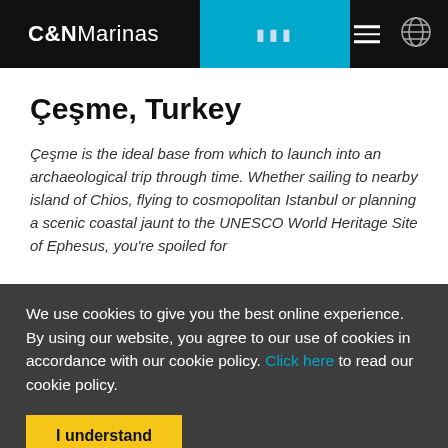C&NMarinas
Çeşme, Turkey
Çeşme is the ideal base from which to launch into an archaeological trip through time. Whether sailing to nearby island of Chios, flying to cosmopolitan Istanbul or planning a scenic coastal jaunt to the UNESCO World Heritage Site of Ephesus, you're spoiled for
We use cookies to give you the best online experience. By using our website, you agree to our use of cookies in accordance with our cookie policy. Click here to read our cookie policy.
I understand